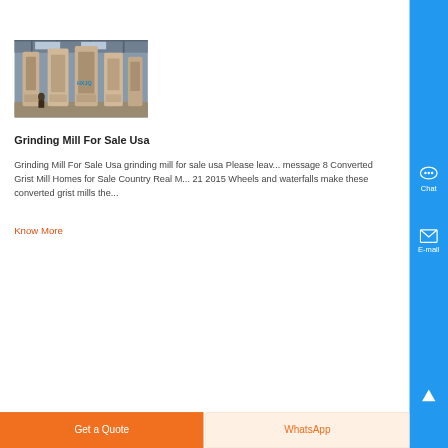[Figure (photo): Industrial grinding mill machinery inside a warehouse/factory building]
Grinding Mill For Sale Usa
Grinding Mill For Sale Usa grinding mill for sale usa Please leave message 8 Converted Grist Mill Homes for Sale Country Real M... 21 2015 Wheels and waterfalls make these converted grist mills the...
Know More
Get a Quote
WhatsApp